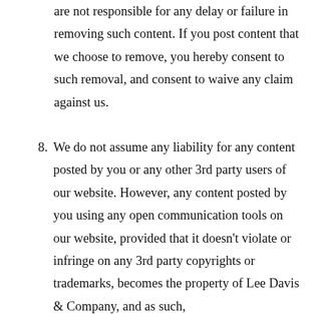are not responsible for any delay or failure in removing such content. If you post content that we choose to remove, you hereby consent to such removal, and consent to waive any claim against us.
8. We do not assume any liability for any content posted by you or any other 3rd party users of our website. However, any content posted by you using any open communication tools on our website, provided that it doesn't violate or infringe on any 3rd party copyrights or trademarks, becomes the property of Lee Davis & Company, and as such,